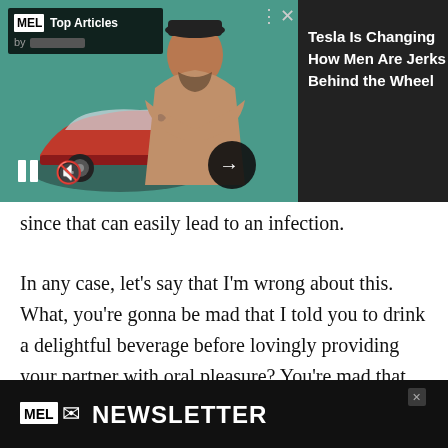[Figure (screenshot): MEL Magazine Top Articles video ad banner showing a shirtless tattooed man with arms crossed in front of a red Tesla car on a teal background, with playback controls (pause, mute) and a close button. Right side dark panel shows article title 'Tesla Is Changing How Men Are Jerks Behind the Wheel'.]
since that can easily lead to an infection.
In any case, let's say that I'm wrong about this. What, you're gonna be mad that I told you to drink a delightful beverage before lovingly providing your partner with oral pleasure? You're mad that you got a few extra electrolytes in before taking your mouth for a spin? It's
[Figure (screenshot): MEL Newsletter signup banner at the bottom of the page — black background with MEL logo and envelope icon followed by 'NEWSLETTER' text in white bold, with a small close X button.]